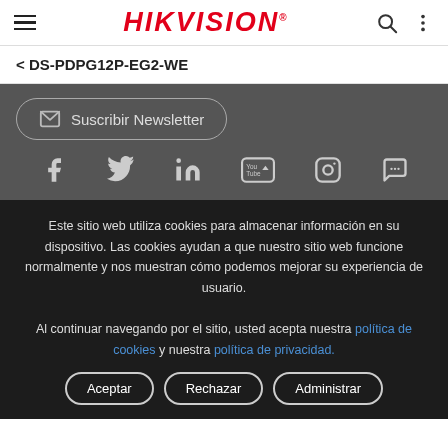HIKVISION
< DS-PDPG12P-EG2-WE
Suscribir Newsletter
[Figure (infographic): Social media icons row: Facebook, Twitter, LinkedIn, YouTube, Instagram, Chat/Message]
Este sitio web utiliza cookies para almacenar información en su dispositivo. Las cookies ayudan a que nuestro sitio web funcione normalmente y nos muestran cómo podemos mejorar su experiencia de usuario.
Al continuar navegando por el sitio, usted acepta nuestra política de cookies y nuestra política de privacidad.
Aceptar
Rechazar
Administrar